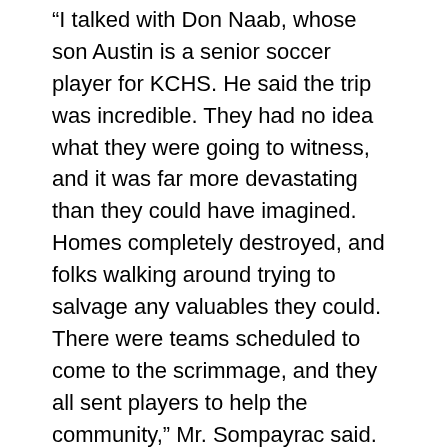“I talked with Don Naab, whose son Austin is a senior soccer player for KCHS. He said the trip was incredible. They had no idea what they were going to witness, and it was far more devastating than they could have imagined. Homes completely destroyed, and folks walking around trying to salvage any valuables they could. There were teams scheduled to come to the scrimmage, and they all sent players to help the community,” Mr. Sompayrac said.
“I was just really proud of all our players and parents who took time to help a community that was going through such devastation from the tornadoes. Events like these can really remind our students what is truly important in life,” Mr. Sompayrac added.
When Coach Heins and Cookeville’s coach